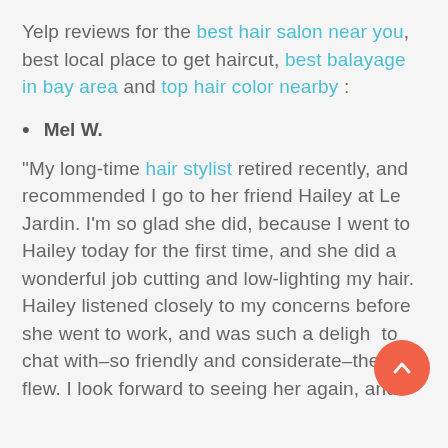Yelp reviews for the best hair salon near you, best local place to get haircut, best balayage in bay area and top hair color nearby :
Mel W.
“My long-time hair stylist retired recently, and recommended I go to her friend Hailey at Le Jardin.  I’m so glad she did, because I went to Hailey today for the first time, and she did a wonderful job cutting and low-lighting my hair.  Hailey listened closely to my concerns before she went to work, and was such a delight to chat with–so friendly and considerate–the time flew.  I look forward to seeing her again, and